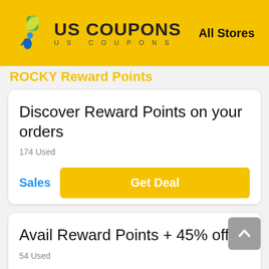US COUPONS — All Stores
ROCKY Reward Points
Discover Reward Points on your orders
174 Used
Sales | Get Deal
Avail Reward Points + 45% off
54 Used
45% Off | Get Deal